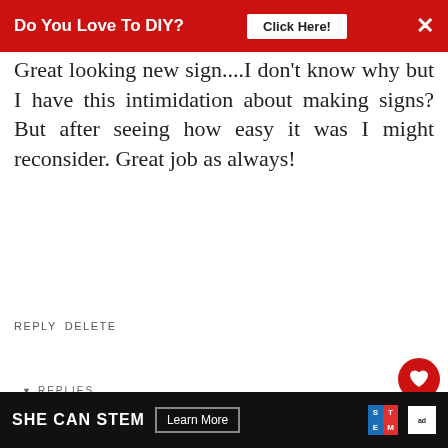[Figure (screenshot): Red advertisement banner at top: 'Do You Love To DIY?' with 'Click Here!' button and X close button]
Great looking new sign....I don't know why but I have this intimidation about making signs? But after seeing how easy it was I might reconsider. Great job as always!
REPLY DELETE
REPLIES
Kim
OCTOBER 17, 2016 AT 6:59
Me too, Cathy! Trust me. I have cheated my way
[Figure (screenshot): Bottom ad banner: SHE CAN STEM with Learn More button, STEM grid logo, and Ad Council logo]